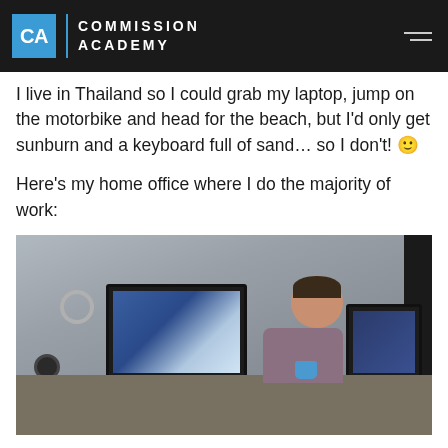CA | COMMISSION ACADEMY
I live in Thailand so I could grab my laptop, jump on the motorbike and head for the beach, but I'd only get sunburn and a keyboard full of sand... so I don't! 🙂
Here's my home office where I do the majority of work:
[Figure (photo): A man sitting at a home office desk with two computer monitors (one showing a website), holding a blue mug and smiling at the camera. A microphone or camera is visible on the left side. The room has grey walls and a dark panel/door on the right.]